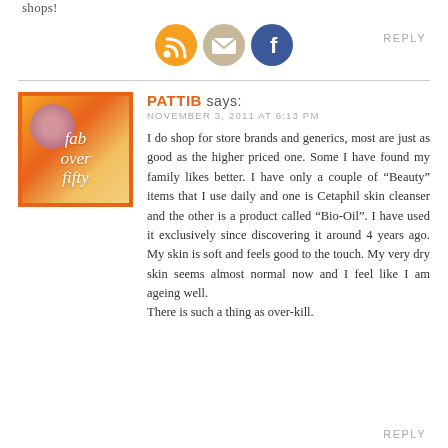shops!
[Figure (illustration): Three social media icon buttons: RSS feed (orange), email/envelope (tan/gold), Facebook (blue), followed by REPLY text link]
[Figure (logo): Fab Over Fifty blog logo: orange square border with purple circle accent, white italic text reading 'fab over fifty' on orange/yellow gradient background]
PATTIB says:
NOVEMBER 3, 2011 AT 6:13 PM
I do shop for store brands and generics, most are just as good as the higher priced one. Some I have found my family likes better. I have only a couple of “Beauty” items that I use daily and one is Cetaphil skin cleanser and the other is a product called “Bio-Oil”. I have used it exclusively since discovering it around 4 years ago. My skin is soft and feels good to the touch. My very dry skin seems almost normal now and I feel like I am ageing well.
There is such a thing as over-kill.
REPLY